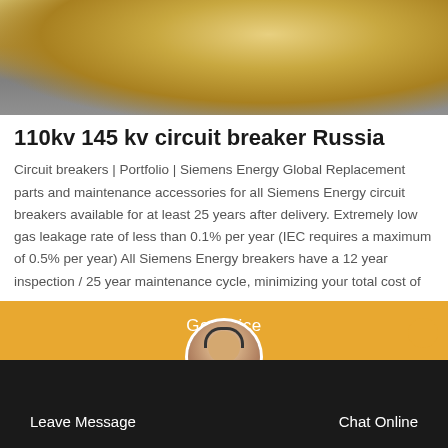[Figure (photo): Aerial or ground-level outdoor photo showing a yellow vehicle or equipment on a paved surface, likely at a substation or industrial site.]
110kv 145 kv circuit breaker Russia
Circuit breakers | Portfolio | Siemens Energy Global Replacement parts and maintenance accessories for all Siemens Energy circuit breakers available for at least 25 years after delivery. Extremely low gas leakage rate of less than 0.1% per year (IEC requires a maximum of 0.5% per year) All Siemens Energy breakers have a 12 year inspection / 25 year maintenance cycle, minimizing your total cost of
Get Price
Leave Message
Chat Online